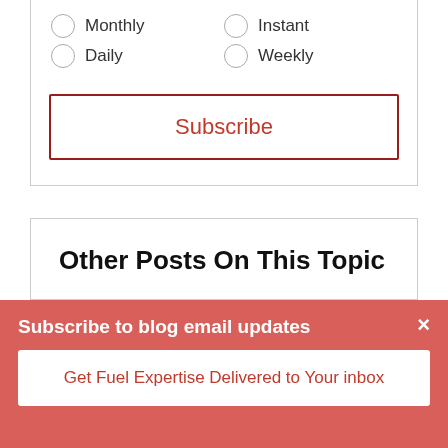Monthly
Daily
Instant
Weekly
Subscribe
Other Posts On This Topic
This Year's Prediction: Get Ready for a Busy Hurricane Season
Subscribe to blog email updates
Get Fuel Expertise Delivered to Your inbox